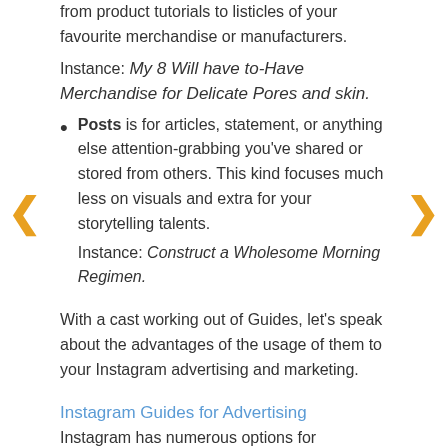from product tutorials to listicles of your favourite merchandise or manufacturers.
Instance: My 8 Will have to-Have Merchandise for Delicate Pores and skin.
Posts is for articles, statement, or anything else attention-grabbing you've shared or stored from others. This kind focuses much less on visuals and extra for your storytelling talents.
Instance: Construct a Wholesome Morning Regimen.
With a cast working out of Guides, let's speak about the advantages of the usage of them to your Instagram advertising and marketing.
Instagram Guides for Advertising
Instagram has numerous options for entrepreneurs — however what makes guides stand proud of the group?